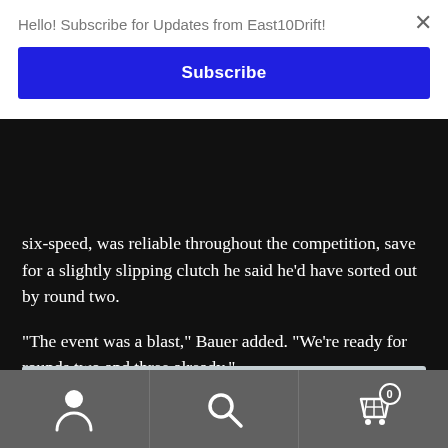Hello! Subscribe for Updates from East10Drift!
Subscribe
six-speed, was reliable throughout the competition, save for a slightly slipping clutch he said he’d have sorted out by round two.
“The event was a blast,” Bauer added. “We’re ready for rounds two and three already.”
[Figure (photo): Outdoor scene with overcast sky, a street light pole, scattered birds in the sky, and a partial view of a helmet or hand in the lower right]
[Figure (infographic): Bottom navigation bar with three icons: user/person icon, search/magnifier icon, and shopping cart icon with badge showing 0]